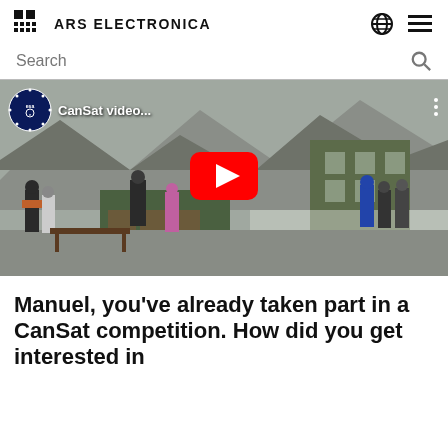ARS ELECTRONICA
[Figure (screenshot): YouTube video thumbnail showing a crowd of people outdoors in a snowy/mountainous setting with a play button overlay. ESA logo and 'CanSat video...' label visible in the top left corner.]
Manuel, you’ve already taken part in a CanSat competition. How did you get interested in